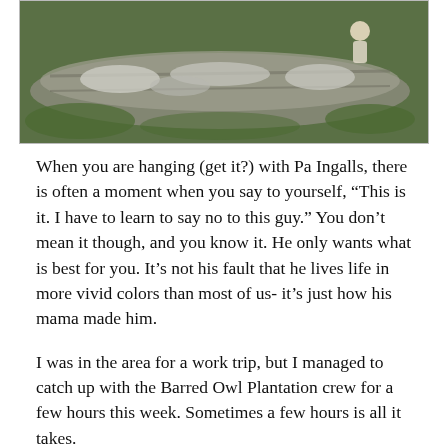[Figure (photo): Outdoor photo showing mossy logs on green grass, with a person visible in the upper right area.]
When you are hanging (get it?) with Pa Ingalls, there is often a moment when you say to yourself, “This is it. I have to learn to say no to this guy.” You don’t mean it though, and you know it. He only wants what is best for you. It’s not his fault that he lives life in more vivid colors than most of us- it’s just how his mama made him.
I was in the area for a work trip, but I managed to catch up with the Barred Owl Plantation crew for a few hours this week. Sometimes a few hours is all it takes.
I attended a regional summit meeting at Santos with representation from the Jensen crew provided by Rollo, or Rolio, or something like that. He rode the trail on a borrowed bike in slip-on Vans, board shorts, and no helmet. Yes, he is about 40 years old. Is that a problem? It doesn’t matter, we could not drop him. He brought cigarettes too, although we weren’t out long enough for him to